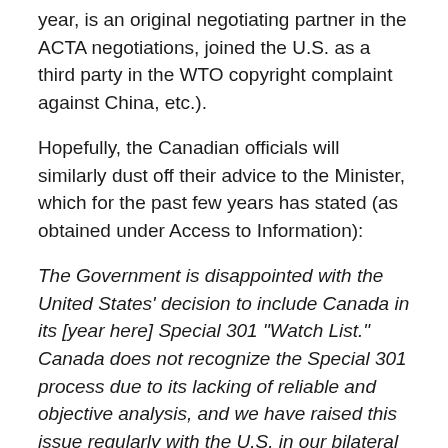year, is an original negotiating partner in the ACTA negotiations, joined the U.S. as a third party in the WTO copyright complaint against China, etc.).
Hopefully, the Canadian officials will similarly dust off their advice to the Minister, which for the past few years has stated (as obtained under Access to Information):
The Government is disappointed with the United States' decision to include Canada in its [year here] Special 301 "Watch List."  Canada does not recognize the Special 301 process due to its lacking of reliable and objective analysis, and we have raised this issue regularly with the U.S. in our bilateral discussions."
Those same sentiments were expressed by an official at the Department of Foreign Affairs to a House of Commons committee in 2007: